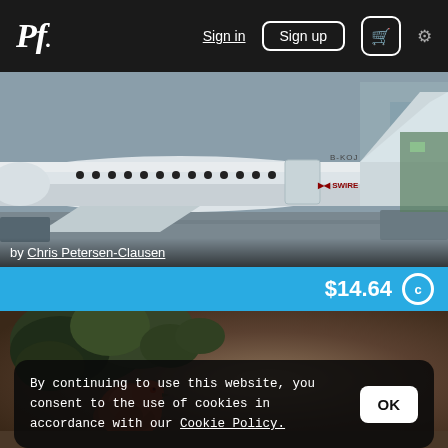Pf. Sign in Sign up [cart] [settings]
[Figure (photo): Photograph of a white commercial airplane with SWIRE branding and registration B-KOJ, viewed from below/side with airport ground infrastructure visible in background]
by Chris Petersen-Clausen
$14.64
[Figure (photo): Photograph of a bird (appears to be a red/orange grouse or similar species) perched on dark shrubby vegetation, with blurred brown/tan background]
By continuing to use this website, you consent to the use of cookies in accordance with our Cookie Policy.